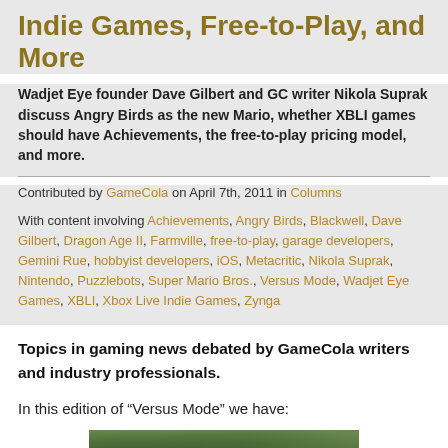Indie Games, Free-to-Play, and More
Wadjet Eye founder Dave Gilbert and GC writer Nikola Suprak discuss Angry Birds as the new Mario, whether XBLI games should have Achievements, the free-to-play pricing model, and more.
Contributed by GameCola on April 7th, 2011 in Columns
With content involving Achievements, Angry Birds, Blackwell, Dave Gilbert, Dragon Age II, Farmville, free-to-play, garage developers, Gemini Rue, hobbyist developers, iOS, Metacritic, Nikola Suprak, Nintendo, Puzzlebots, Super Mario Bros., Versus Mode, Wadjet Eye Games, XBLI, Xbox Live Indie Games, Zynga
Topics in gaming news debated by GameCola writers and industry professionals.
In this edition of “Versus Mode” we have:
[Figure (photo): Outdoor photo with trees and foliage, green tones]